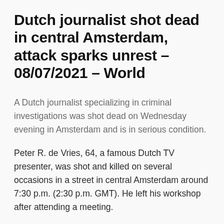Dutch journalist shot dead in central Amsterdam, attack sparks unrest – 08/07/2021 – World
A Dutch journalist specializing in criminal investigations was shot dead on Wednesday evening in Amsterdam and is in serious condition.
Peter R. de Vries, 64, a famous Dutch TV presenter, was shot and killed on several occasions in a street in central Amsterdam around 7:30 p.m. (2:30 p.m. GMT). He left his workshop after attending a meeting.
Witnesses reported hearing five shots and seeing one of the bullets hit the journalist in the head, state television NOS...